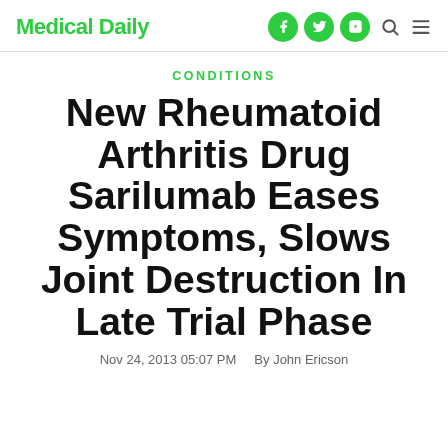Medical Daily
CONDITIONS
New Rheumatoid Arthritis Drug Sarilumab Eases Symptoms, Slows Joint Destruction In Late Trial Phase
Nov 24, 2013 05:07 PM   By John Ericson